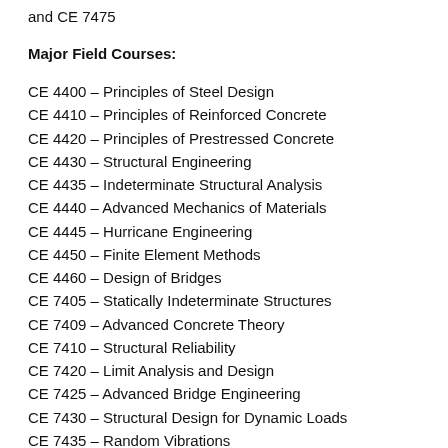and CE 7475
Major Field Courses:
CE 4400 – Principles of Steel Design
CE 4410 – Principles of Reinforced Concrete
CE 4420 – Principles of Prestressed Concrete
CE 4430 – Structural Engineering
CE 4435 – Indeterminate Structural Analysis
CE 4440 – Advanced Mechanics of Materials
CE 4445 – Hurricane Engineering
CE 4450 – Finite Element Methods
CE 4460 – Design of Bridges
CE 7405 – Statically Indeterminate Structures
CE 7409 – Advanced Concrete Theory
CE 7410 – Structural Reliability
CE 7420 – Limit Analysis and Design
CE 7425 – Advanced Bridge Engineering
CE 7430 – Structural Design for Dynamic Loads
CE 7435 – Random Vibrations
CE 7455 – Finite Element Method in Engineering
CE 7475 – Solid Mechanics